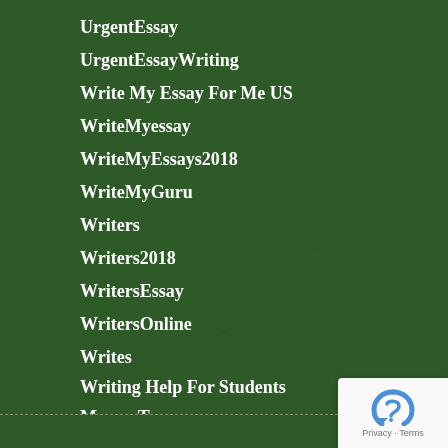UrgentEssay
UrgentEssayWriting
Write My Essay For Me US
WriteMyessay
WriteMyEssays2018
WriteMyGuru
Writers
Writers2018
WritersEssay
WritersOnline
Writes
Writing Help For Students
Молот Тора
Privacy · Terms